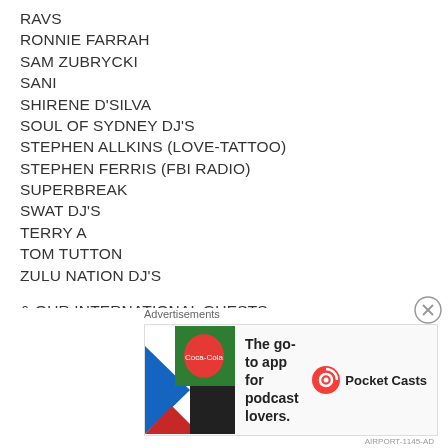RAVS
RONNIE FARRAH
SAM ZUBRYCKI
SANI
SHIRENE D'SILVA
SOUL OF SYDNEY DJ'S
STEPHEN ALLKINS (LOVE-TATTOO)
STEPHEN FERRIS (FBI RADIO)
SUPERBREAK
SWAT DJ'S
TERRY A
TOM TUTTON
ZULU NATION DJ'S
& OUR INTERNATIONAL GUESTS.
JOHN MORALES
ALTON MILLER